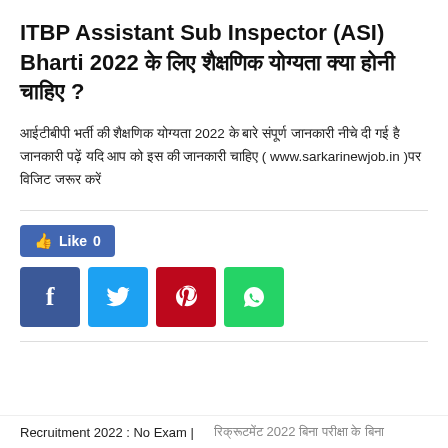ITBP Assistant Sub Inspector (ASI) Bharti 2022 के लिए शैक्षणिक योग्यता क्या होनी चाहिए ?
आईटीबीपी भर्ती की शैक्षणिक योग्यता 2022 के बारे संपूर्ण जानकारी नीचे दी गई है जानकारी पढ़ें यदि आप को इस की जानकारी चाहिए ( www.sarkarinewjob.in )पर विजिट जरूर करें
[Figure (infographic): Social media like and share buttons: Like 0 button (Facebook style), followed by Facebook, Twitter, Pinterest, and WhatsApp share buttons]
Recruitment 2022 : No Exam | रिक्रूटमेंट 2022 बिना परीक्षा के